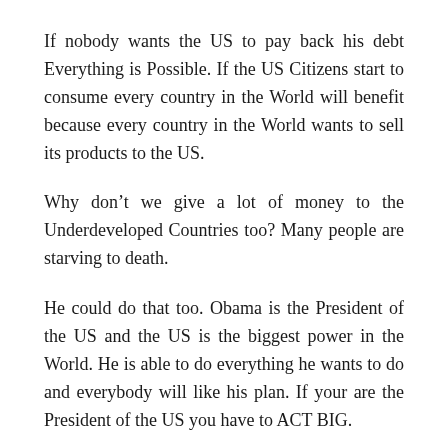If nobody wants the US to pay back his debt Everything is Possible. If the US Citizens start to consume every country in the World will benefit because every country in the World wants to sell its products to the US.
Why don’t we give a lot of money to the Underdeveloped Countries too? Many people are starving to death.
He could do that too. Obama is the President of the US and the US is the biggest power in the World. He is able to do everything he wants to do and everybody will like his plan. If your are the President of the US you have to ACT BIG.